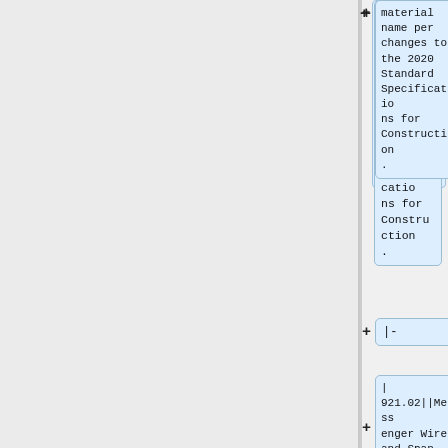material name per changes to the 2020 Standard Specifications for Construction.
|-
| 921.02||Messenger Wire and Span Wire||Gen Cert||Revised the material name per changes to the 2020